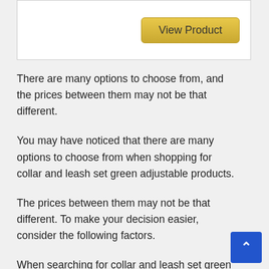[Figure (screenshot): A 'View Product' button with golden/yellow gradient background and rounded corners]
There are many options to choose from, and the prices between them may not be that different.
You may have noticed that there are many options to choose from when shopping for collar and leash set green adjustable products.
The prices between them may not be that different. To make your decision easier, consider the following factors.
When searching for collar and leash set green